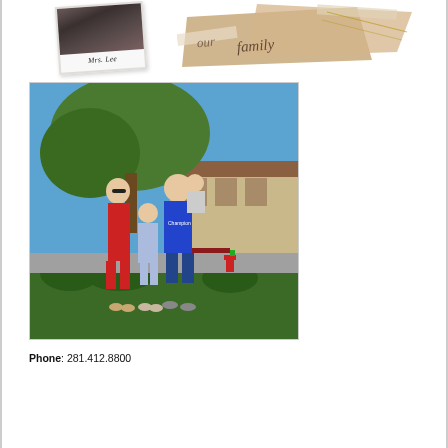[Figure (photo): Polaroid photo with handwritten text 'Mrs. Lee' below a dark photo image]
[Figure (photo): Decorative scrapbook-style collage with torn kraft paper, tape strips, and handwritten/stamped text including cursive lettering]
[Figure (photo): Family photo of a woman in a red dress, a man in a blue Champion t-shirt holding a baby, and a young girl in a light blue dress, standing outdoors in front of a tree and a building]
Phone: 281.412.8800